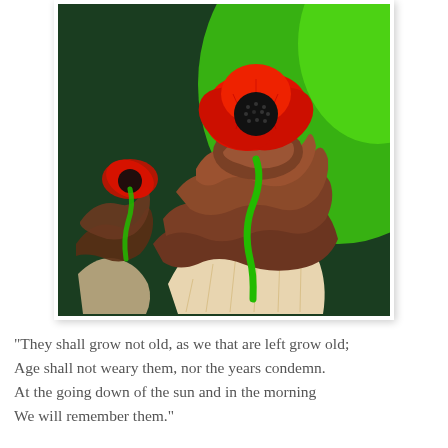[Figure (photo): Close-up photograph of chocolate frosted cupcakes with red fondant poppy flowers on green stems as decorations, set against a green background]
"They shall grow not old, as we that are left grow old; Age shall not weary them, nor the years condemn. At the going down of the sun and in the morning We will remember them."